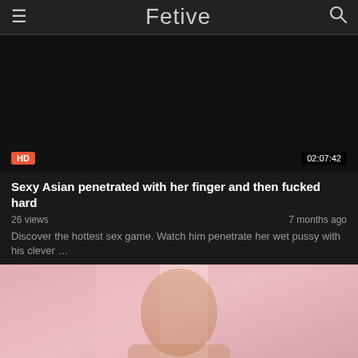Fetive
[Figure (screenshot): Dark video thumbnail placeholder with HD badge and duration 02:07:42]
Sexy Asian penetrated with her finger and then fucked hard
26 views · 7 months ago
Discover the hottest sex game. Watch him penetrate her wet pussy with his clever …
[Figure (photo): Video thumbnail showing a woman in a pink bedroom setting]